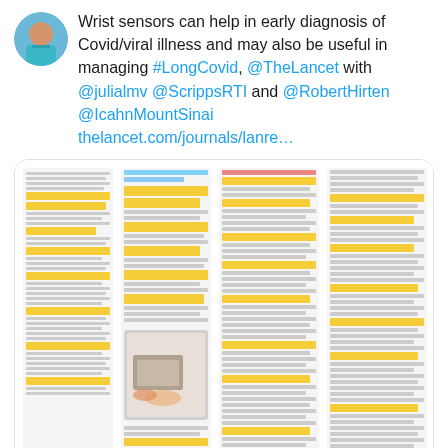Wrist sensors can help in early diagnosis of Covid/viral illness and may also be useful in managing #LongCovid, @TheLancet with @julialmv @ScrippsRTI and @RobertHirten @IcahnMountSinai thelancet.com/journals/lanre…
[Figure (screenshot): Screenshot of a Lancet journal article page with yellow highlighted text sections and a photograph of a person using a wrist/hand-held medical device.]
14 comments, 365 likes
View more on Twitter
Learn more about privacy on Twitter